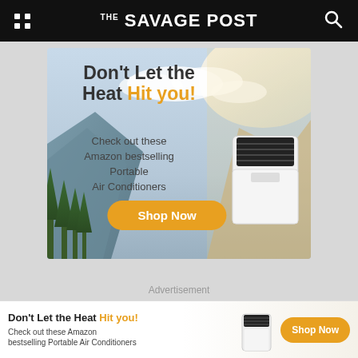THE SAVAGE POST
[Figure (illustration): Advertisement banner: 'Don't Let the Heat Hit you! Check out these Amazon bestselling Portable Air Conditioners' with Shop Now button, mountain landscape background and portable AC unit image]
Advertisement
[Figure (illustration): Bottom sticky ad banner: 'Don't Let the Heat Hit you! Check out these Amazon bestselling Portable Air Conditioners' with Shop Now button]